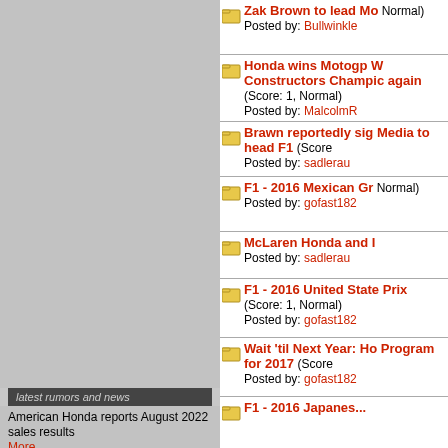latest rumors and news
American Honda reports August 2022 sales results More.........................
Honda releases more info on 2023 Civic Type R - 315hp, 310lb-ft for US market More.........................
Upcoming Acura EV SUV to take ZDX nameplate More.........................
Acura Precision EV Concept Debuts at Monterey, Previews Future Design Language for Electrified Era More.........................
Honda Magazine: New Civic Type R Scheduled to be released in September 2022 More.........................
Zak Brown to lead Mo... Normal) Posted by: Bullwinkle
Honda wins Motogp World Constructors Championship again (Score: 1, Normal) Posted by: MalcolmR
Brawn reportedly sig... Media to head F1 (Score:... Posted by: sadlerau
F1 - 2016 Mexican Gr... Normal) Posted by: gofast182
McLaren Honda and I... Posted by: sadlerau
F1 - 2016 United State... Prix (Score: 1, Normal) Posted by: gofast182
Wait 'til Next Year: Ho... Program for 2017 (Score... Posted by: gofast182
F1 - 2016 Japanes...